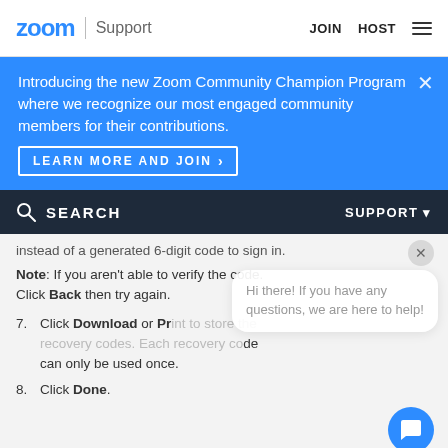zoom | Support   JOIN   HOST
Introducing the new Zoom Community Champion Program where we recognize our most engaged community members for their contributions.
LEARN MORE AND JOIN >
SEARCH   SUPPORT
instead of a generated 6-digit code to sign in.
Note: If you aren't able to verify the code. Click Back then try again.
7. Click Download or Print to store the recovery codes. Each recovery code can only be used once.
8. Click Done.
Hi there! If you have any questions, we are here to help!
H  gn in using 2FA (user)